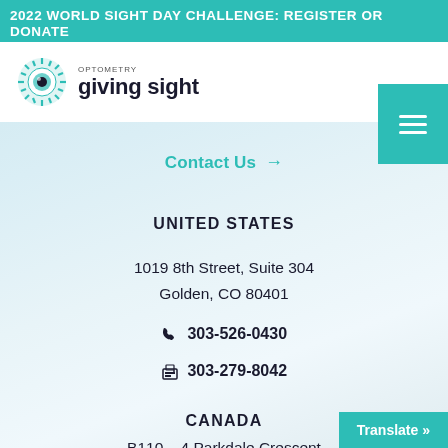2022 WORLD SIGHT DAY CHALLENGE: REGISTER OR DONATE
[Figure (logo): Optometry Giving Sight logo with circular eye icon]
Contact Us →
UNITED STATES
1019 8th Street, Suite 304
Golden, CO 80401
📞 303-526-0430
📠 303-279-8042
CANADA
B110 – 4 Parkdale Crescent
Calgary, Alberta T2N 3T8, C…